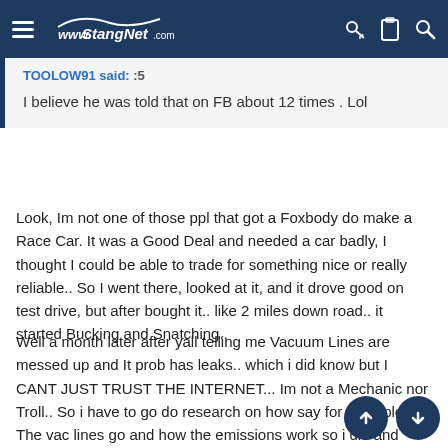StangNet.com navigation bar
TOOLOW91 said: :5
I believe he was told that on FB about 12 times . Lol
Look, Im not one of those ppl that got a Foxbody do make a Race Car. It was a Good Deal and needed a car badly, I thought I could be able to trade for something nice or really reliable.. So I went there, looked at it, and it drove good on test drive, but after bought it.. like 2 miles down road.. it started Bucking and Snatching..
Well a month later after yall telling me Vacuum Lines are messed up and It prob has leaks.. which i did know but I CANT JUST TRUST THE INTERNET... Im not a Mechanic nor Troll.. So i have to go do research on how say for example The vac lines go and how the emissions work so i did and then i did get help from someone that legit knew alot.. it ran great.. fixed it.. then slowly the backhesition came back... so i asked and gave basically the same symptoms agian.. most said "told you fix your vac leaks.. "He wont listen dont